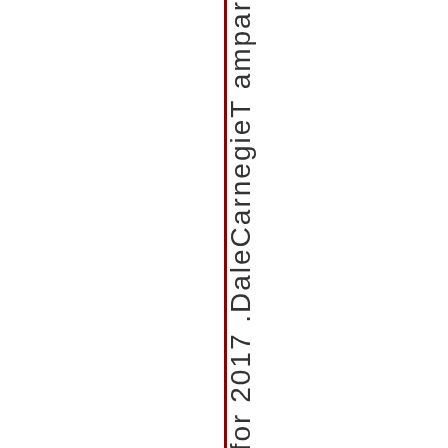– s e f o r 2 0 1 7 . D a l e C a r n e g i e T a m p a p a r
[Figure (other): A vertical dark red line running the full height of the page, acting as a visual divider.]